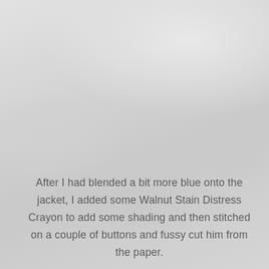After I had blended a bit more blue onto the jacket, I added some Walnut Stain Distress Crayon to add some shading and then stitched on a couple of buttons and fussy cut him from the paper.